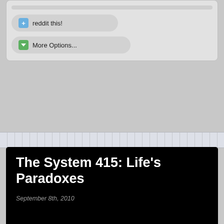[Figure (screenshot): Top social sharing panel with reddit this! and More Options... buttons on grey rounded background]
The System 415: Life's Paradoxes
September 8th, 2010
[Figure (screenshot): The System webcomic strip header with navigation overlay showing RANDOM, FIRST, PREV, NEXT, LAST buttons over comic panels about life's paradoxes]